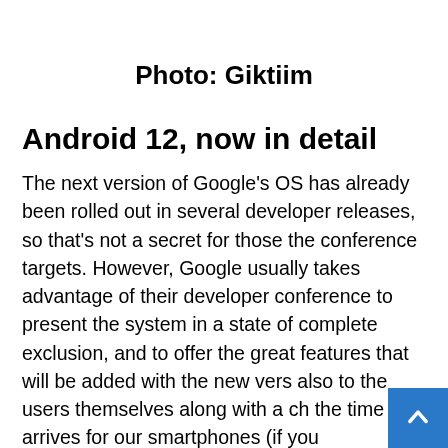Photo: Giktiim
Android 12, now in detail
The next version of Google's OS has already been rolled out in several developer releases, so that's not a secret for those the conference targets. However, Google usually takes advantage of their developer conference to present the system in a state of complete exclusion, and to offer the great features that will be added with the new vers also to the users themselves along with a ch the time it arrives for our smartphones (if you